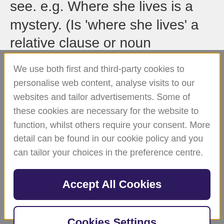see. e.g. Where she lives is a mystery. (Is 'where she lives' a relative clause or noun
We use both first and third-party cookies to personalise web content, analyse visits to our websites and tailor advertisements. Some of these cookies are necessary for the website to function, whilst others require your consent. More detail can be found in our cookie policy and you can tailor your choices in the preference centre.
Accept All Cookies
Cookies Settings